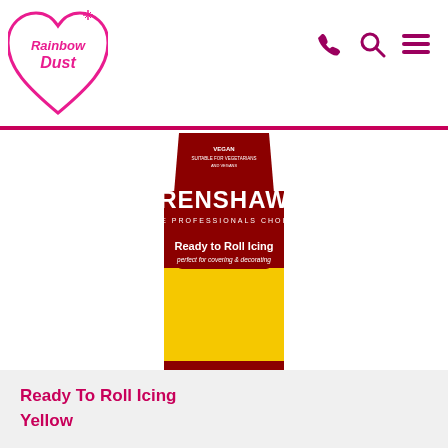Rainbow Dust
[Figure (photo): Renshaw Ready to Roll Icing Yellow product package. A brick-shaped package with a dark red top and bottom section, and a bright yellow middle section. The top reads 'RENSHAW THE PROFESSIONALS CHOICE' in white text, with a dark red rounded rectangle label reading 'Ready to Roll Icing perfect for covering & decorating'.]
Ready To Roll Icing Yellow